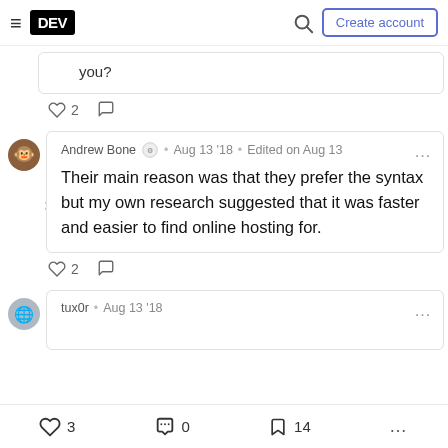DEV — Create account
you?
♡ 2  ○
Andrew Bone · Aug 13 '18 · Edited on Aug 13
Their main reason was that they prefer the syntax but my own research suggested that it was faster and easier to find online hosting for.
♡ 2  ○
tux0r · Aug 13 '18
♡ 3   0   14   ...